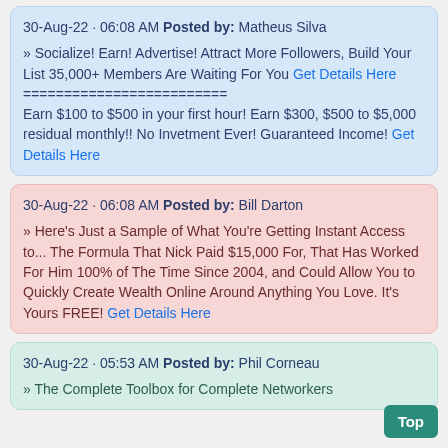30-Aug-22 · 06:08 AM Posted by: Matheus Silva
» Socialize! Earn! Advertise! Attract More Followers, Build Your List 35,000+ Members Are Waiting For You Get Details Here ========================= Earn $100 to $500 in your first hour! Earn $300, $500 to $5,000 residual monthly!! No Invetment Ever! Guaranteed Income! Get Details Here
30-Aug-22 · 06:08 AM Posted by: Bill Darton
» Here's Just a Sample of What You're Getting Instant Access to... The Formula That Nick Paid $15,000 For, That Has Worked For Him 100% of The Time Since 2004, and Could Allow You to Quickly Create Wealth Online Around Anything You Love. It's Yours FREE! Get Details Here
30-Aug-22 · 05:53 AM Posted by: Phil Corneau
» The Complete Toolbox for Complete Networkers